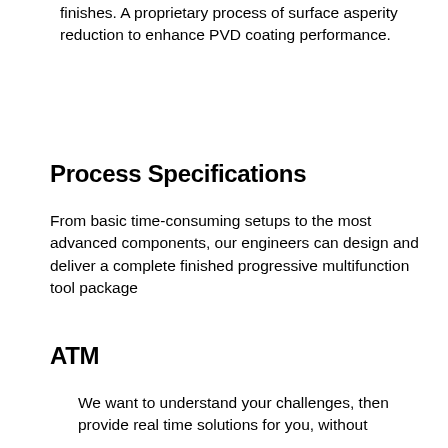finishes. A proprietary process of surface asperity reduction to enhance PVD coating performance.
Process Specifications
From basic time-consuming setups to the most advanced components, our engineers can design and deliver a complete finished progressive multifunction tool package
ATM
We want to understand your challenges, then provide real time solutions for you, without